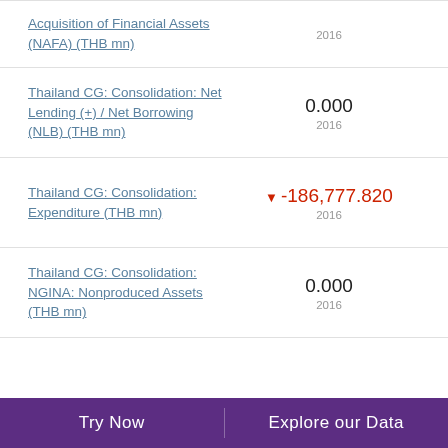Acquisition of Financial Assets (NAFA) (THB mn)
Thailand CG: Consolidation: Net Lending (+) / Net Borrowing (NLB) (THB mn)
Thailand CG: Consolidation: Expenditure (THB mn)
Thailand CG: Consolidation: NGINA: Nonproduced Assets (THB mn)
Try Now   Explore our Data